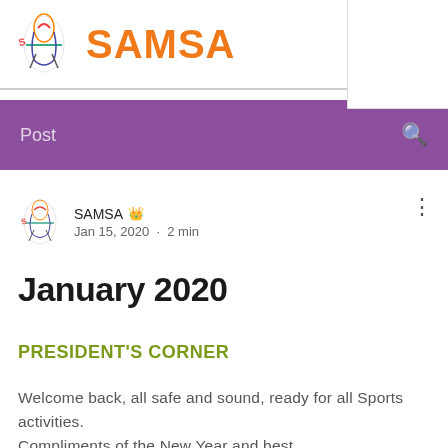SAMSA
Post
SAMSA ♛
Jan 15, 2020 · 2 min
January 2020
PRESIDENT'S CORNER
Welcome back, all safe and sound, ready for all Sports activities.
Compliments of the New Year and best